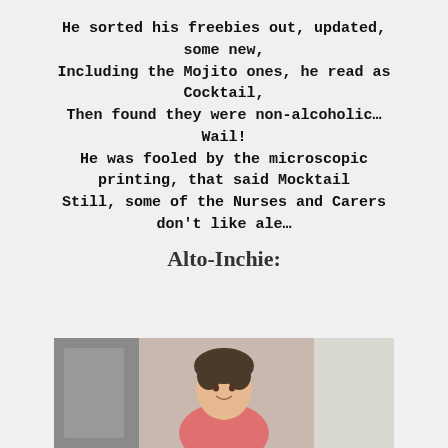He sorted his freebies out, updated, some new,
Including the Mojito ones, he read as Cocktail,
Then found they were non-alcoholic… Wail!
He was fooled by the microscopic printing, that said Mocktail
Still, some of the Nurses and Carers don't like ale…
Alto-Inchie:
[Figure (photo): A photograph of a person (likely an elderly woman) standing indoors, partially visible at the bottom of the page.]